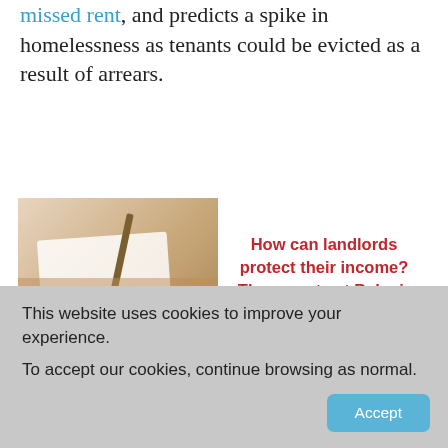missed rent, and predicts a spike in homelessness as tenants could be evicted as a result of arrears.
[Figure (infographic): Advertisement banner for Belvoir property management. Left side shows a photo of hands writing with stacks of coins below. Right side shows red bold text 'How can landlords protect their income? The experts at Belvoir advise...' with a red 'CLICK HERE' button and the BELVOIR! logo with tagline 'Property is personal'.]
This website uses cookies to improve your experience. To accept our cookies, continue browsing as normal.
Accept